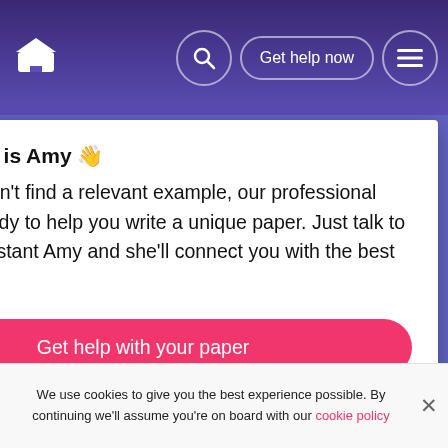Get help now
This essay was w... may use it as a g... own paper, but m... Don't submit it as... considered plagi...
Hi, my name is Amy 👋
In case you can't find a relevant example, our professional writers are ready to help you write a unique paper. Just talk to our smart assistant Amy and she'll connect you with the best match.
Get help with your paper
Need a cust... written spec... requ...
Choose skilled expert on your subject and get original paper with free plagiarism report
We use cookies to give you the best experience possible. By continuing we'll assume you're on board with our cookie policy